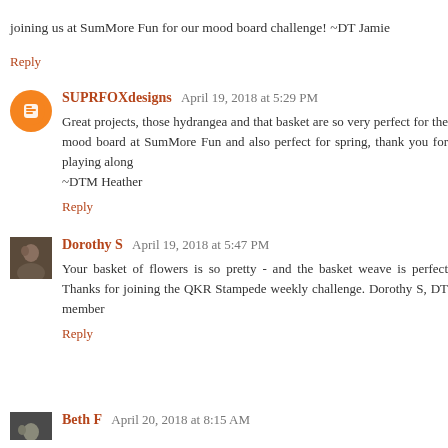joining us at SumMore Fun for our mood board challenge! ~DT Jamie
Reply
SUPRFOXdesigns  April 19, 2018 at 5:29 PM
Great projects, those hydrangea and that basket are so very perfect for the mood board at SumMore Fun and also perfect for spring, thank you for playing along
~DTM Heather
Reply
Dorothy S  April 19, 2018 at 5:47 PM
Your basket of flowers is so pretty - and the basket weave is perfect Thanks for joining the QKR Stampede weekly challenge. Dorothy S, DT member
Reply
Beth F  April 20, 2018 at 8:15 AM